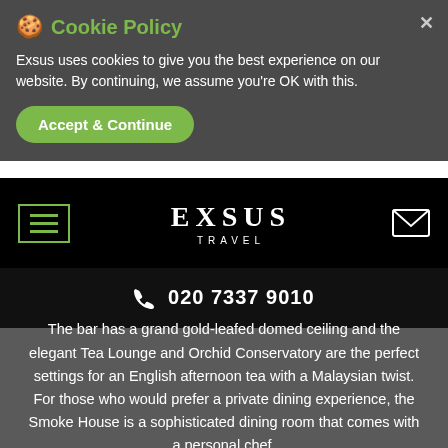🍪 Cookie Policy
Exsus uses cookies to give you the best experience on our website. By continuing, we assume you're OK with this.
Accept & Continue
[Figure (logo): EXSUS TRAVEL logo in white serif uppercase letters on black background, with hamburger menu icon on left and envelope icon on right]
📞 020 7337 9010
The bar has a grand gold-leafed domed ceiling and the elegant Tea Lounge and Orchid Conservatory are the perfect settings for an English afternoon tea with a Malaysian twist. For those who would prefer a private dining experience, the Smoke House is a sophisticated dining room that comes with a personal chef.